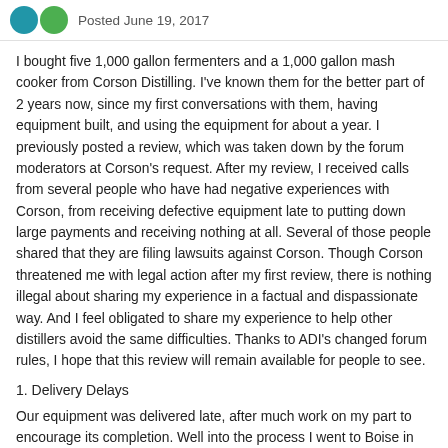Posted June 19, 2017
I bought five 1,000 gallon fermenters and a 1,000 gallon mash cooker from Corson Distilling. I've known them for the better part of 2 years now, since my first conversations with them, having equipment built, and using the equipment for about a year. I previously posted a review, which was taken down by the forum moderators at Corson's request. After my review, I received calls from several people who have had negative experiences with Corson, from receiving defective equipment late to putting down large payments and receiving nothing at all. Several of those people shared that they are filing lawsuits against Corson. Though Corson threatened me with legal action after my first review, there is nothing illegal about sharing my experience in a factual and dispassionate way. And I feel obligated to share my experience to help other distillers avoid the same difficulties. Thanks to ADI's changed forum rules, I hope that this review will remain available for people to see.
1. Delivery Delays
Our equipment was delivered late, after much work on my part to encourage its completion. Well into the process I went to Boise in